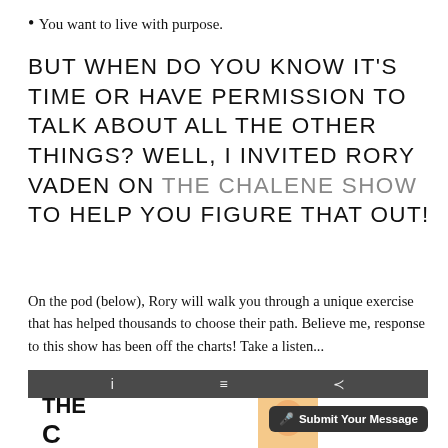You want to live with purpose.
BUT WHEN DO YOU KNOW IT'S TIME OR HAVE PERMISSION TO TALK ABOUT ALL THE OTHER THINGS? WELL, I INVITED RORY VADEN ON THE CHALENE SHOW TO HELP YOU FIGURE THAT OUT!
On the pod (below), Rory will walk you through a unique exercise that has helped thousands to choose their path. Believe me, response to this show has been off the charts! Take a listen...
[Figure (screenshot): Podcast player screenshot showing 'THE CHALENE SHOW' with toolbar icons (info, list, share), a photo of Chalene Johnson, and a dark 'Submit Your Message' button with microphone icon.]